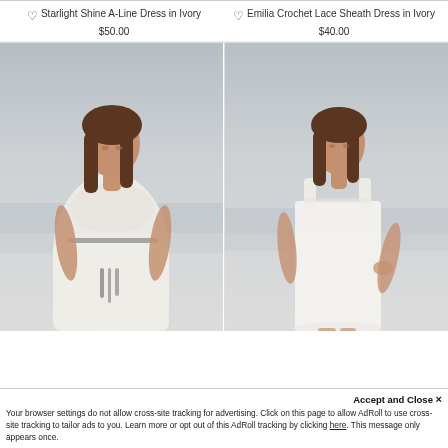Starlight Shine A-Line Dress in Ivory
$50.00
Emilia Crochet Lace Sheath Dress in Ivory
$40.00
[Figure (photo): Model wearing a white bohemian A-line dress with crochet detail and thin belt, standing against a blurred beach background]
[Figure (photo): Model wearing a white crochet lace sheath dress with square neckline and thick straps, standing against a blurred background]
Accept and Close ×
Your browser settings do not allow cross-site tracking for advertising. Click on this page to allow AdRoll to use cross-site tracking to tailor ads to you. Learn more or opt out of this AdRoll tracking by clicking here. This message only appears once.